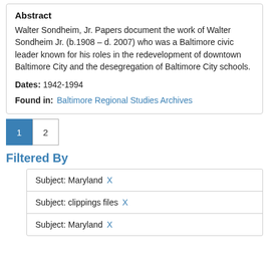Abstract
Walter Sondheim, Jr. Papers document the work of Walter Sondheim Jr. (b.1908 – d. 2007) who was a Baltimore civic leader known for his roles in the redevelopment of downtown Baltimore City and the desegregation of Baltimore City schools.
Dates: 1942-1994
Found in: Baltimore Regional Studies Archives
1  2
Filtered By
Subject: Maryland X
Subject: clippings files X
Subject: Maryland X